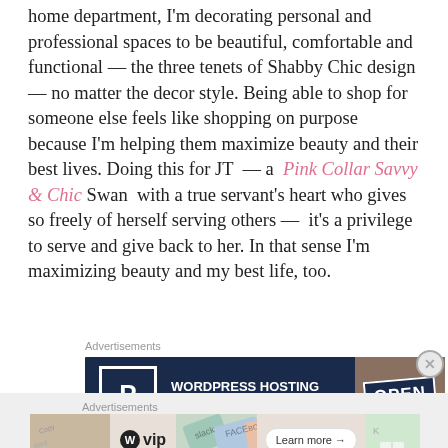home department, I'm decorating personal and professional spaces to be beautiful, comfortable and functional — the three tenets of Shabby Chic design — no matter the decor style. Being able to shop for someone else feels like shopping on purpose because I'm helping them maximize beauty and their best lives. Doing this for JT — a Pink Collar Savvy & Chic Swan with a true servant's heart who gives so freely of herself serving others — it's a privilege to serve and give back to her. In that sense I'm maximizing beauty and my best life, too.
[Figure (other): Advertisement banner for WordPress Hosting — dark navy background with a P logo box, text 'WORDPRESS HOSTING THAT MEANS BUSINESS.' and an OPEN sign photo on the right.]
[Figure (other): Advertisement banner for WordPress VIP — light background with WordPress VIP logo, decorative cards/logos image, and a 'Learn more →' button.]